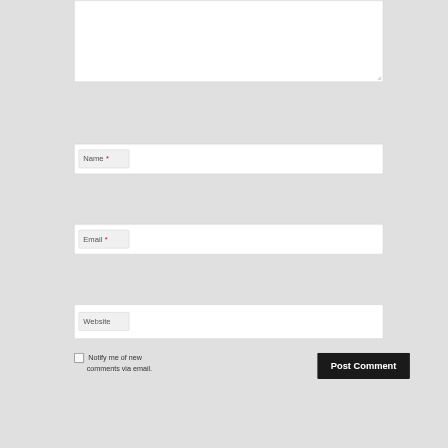[Figure (screenshot): Web comment form showing a textarea at the top (partially visible), followed by Name field with red asterisk required marker, Email field with red asterisk required marker, Website field without required marker, a checkbox with label 'Notify me of new comments via email.' and a dark 'Post Comment' button.]
Name *
Email *
Website
Notify me of new comments via email.
Post Comment